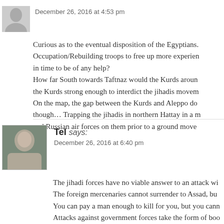December 26, 2016 at 4:53 pm
Curious as to the eventual disposition of the Egyptians. Occupation/Rebuilding troops to free up more experien in time to be of any help? How far South towards Taftnaz would the Kurds aroun the Kurds strong enough to interdict the jihadis movem On the map, the gap between the Kurds and Aleppo do though… Trapping the jihadis in northern Hattay in a m and Russian air forces on them prior to a ground move
Tel says:
December 26, 2016 at 6:40 pm
The jihadi forces have no viable answer to an attack wi The foreign mercenaries cannot surrender to Assad, bu You can pay a man enough to kill for you, but you cann Attacks against government forces take the form of boo